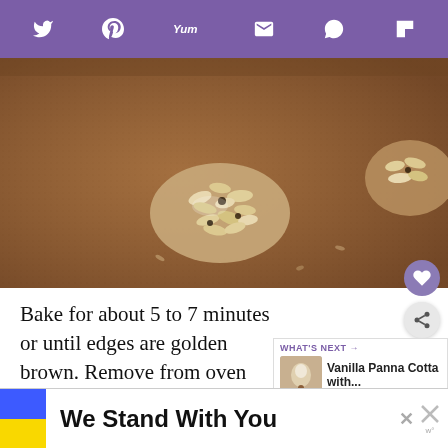Social share icons: Twitter, Pinterest, Yummly, Email, WhatsApp, Flipboard
[Figure (photo): Close-up photo of an unbaked oat cookie cluster on a brown silicone baking mat, with another cookie cluster visible in the top right corner.]
Bake for about 5 to 7 minutes or until edges are golden brown. Remove from oven and leave on tray until firm.
[Figure (infographic): WHAT'S NEXT panel showing a thumbnail of Vanilla Panna Cotta with text 'Vanilla Panna Cotta with...']
[Figure (infographic): Advertisement banner: Ukrainian flag colors (blue and yellow) with text 'We Stand With You']